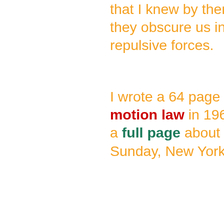that I knew by then could not possibly they obscure us in seeing the actual repulsive forces.
I wrote a 64 page book about this motion law in 1966. Fitzpatrick's First Law gave a full page about it on page 29 of the Sunday, New York Times Book Review.
In my 87th year on this earth, I've managed to convince quite a few people, around the world, this is what is really happening, but you can't change established religious beliefs and that's exactly what today's modern physics is. I saw that in 1954.
While we cannot obtain a Unified Field, we can obtain a working relative motion law